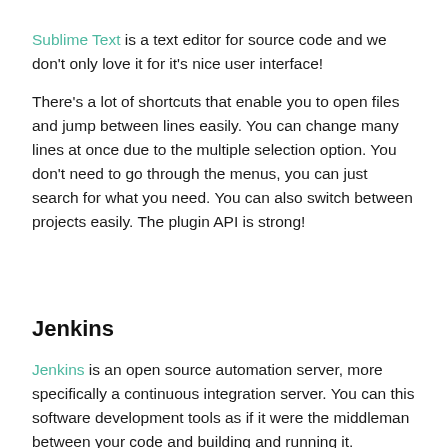Sublime Text is a text editor for source code and we don't only love it for it's nice user interface!
There's a lot of shortcuts that enable you to open files and jump between lines easily. You can change many lines at once due to the multiple selection option. You don't need to go through the menus, you can just search for what you need. You can also switch between projects easily. The plugin API is strong!
Jenkins
Jenkins is an open source automation server, more specifically a continuous integration server. You can this software development tools as if it were the middleman between your code and building and running it.